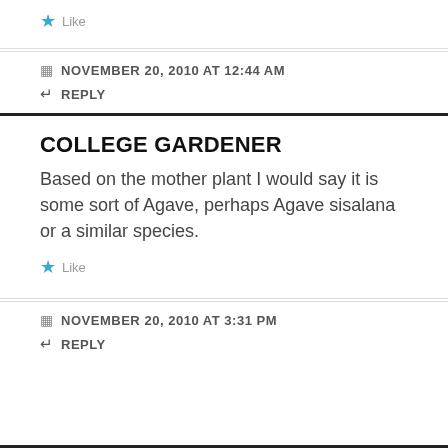★ Like
NOVEMBER 20, 2010 AT 12:44 AM
↵ REPLY
COLLEGE GARDENER
Based on the mother plant I would say it is some sort of Agave, perhaps Agave sisalana or a similar species.
★ Like
NOVEMBER 20, 2010 AT 3:31 PM
↵ REPLY